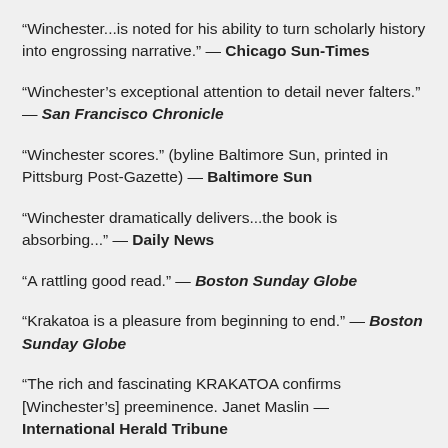“Winchester...is noted for his ability to turn scholarly history into engrossing narrative.” — Chicago Sun-Times
“Winchester’s exceptional attention to detail never falters.” — San Francisco Chronicle
“Winchester scores.” (byline Baltimore Sun, printed in Pittsburg Post-Gazette) — Baltimore Sun
“Winchester dramatically delivers...the book is absorbing...” — Daily News
“A rattling good read.” — Boston Sunday Globe
“Krakatoa is a pleasure from beginning to end.” — Boston Sunday Globe
“The rich and fascinating KRAKATOA confirms [Winchester’s] preeminence. Janet Maslin — International Herald Tribune